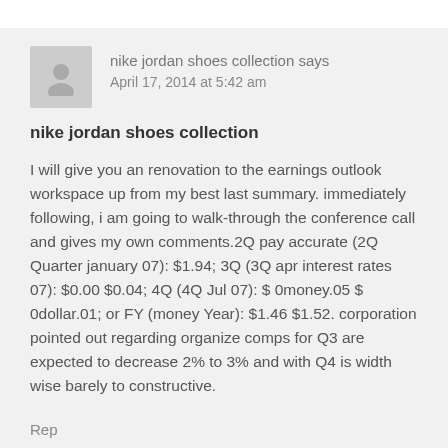nike jordan shoes collection says
April 17, 2014 at 5:42 am
nike jordan shoes collection
I will give you an renovation to the earnings outlook workspace up from my best last summary. immediately following, i am going to walk-through the conference call and gives my own comments.2Q pay accurate (2Q Quarter january 07): $1.94; 3Q (3Q apr interest rates 07): $0.00 $0.04; 4Q (4Q Jul 07): $ 0money.05 $ 0dollar.01; or FY (money Year): $1.46 $1.52. corporation pointed out regarding organize comps for Q3 are expected to decrease 2% to 3% and with Q4 is width wise barely to constructive.
Reply